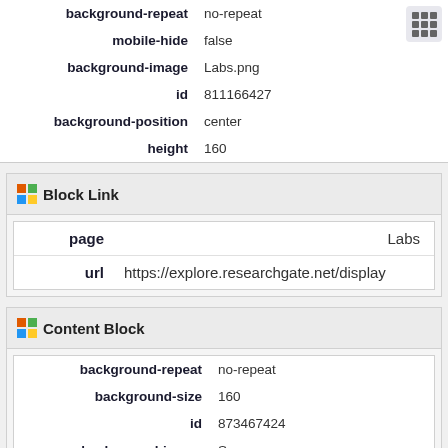| property | value |
| --- | --- |
| background-repeat | no-repeat |
| mobile-hide | false |
| background-image | Labs.png |
| id | 811166427 |
| background-position | center |
| height | 160 |
Block Link
| property | value |
| --- | --- |
| page | Labs |
| url | https://explore.researchgate.net/display |
Content Block
| property | value |
| --- | --- |
| background-repeat | no-repeat |
| background-size | 160 |
| id | 873467424 |
| background-image | Scores.png |